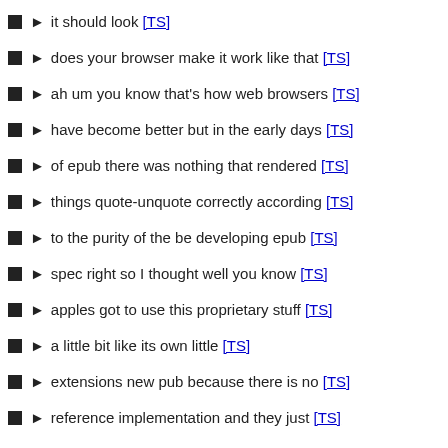it should look [TS]
does your browser make it work like that [TS]
ah um you know that's how web browsers [TS]
have become better but in the early days [TS]
of epub there was nothing that rendered [TS]
things quote-unquote correctly according [TS]
to the purity of the be developing epub [TS]
spec right so I thought well you know [TS]
apples got to use this proprietary stuff [TS]
a little bit like its own little [TS]
extensions new pub because there is no [TS]
reference implementation and they just [TS]